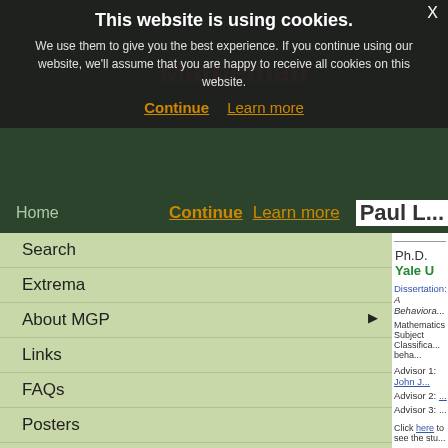This website is using cookies. We use them to give you the best experience. If you continue using our website, we'll assume that you are happy to receive all cookies on this website.
Continue   Learn more
Mathemati...  Paul L...
Search
Extrema
About MGP
Links
FAQs
Posters
Submit Data
Contact
Donate
Ph.D.  Yale U...
Dissertation: A Behaviora...
Mathematics Subject Classification... beha...
Advisor 1: John J...
Advisor 2: ...
Advisor 3: ...
Click here to see the stu...
| Name |  |
| --- | --- |
| Amel, Dean | Massachusetts... Technology |
|  | Massachu... |
A service of the NDSU Department of Mathematics, in association with the American Mathematical Society.